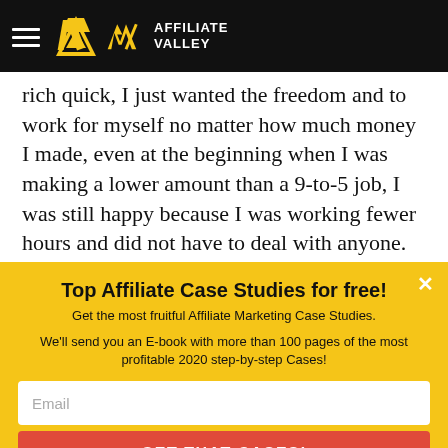Affiliate Valley
rich quick, I just wanted the freedom and to work for myself no matter how much money I made, even at the beginning when I was making a lower amount than a 9-to-5 job, I was still happy because I was working fewer hours and did not have to deal with anyone.
Top Affiliate Case Studies for free!
Get the most fruitful Affiliate Marketing Case Studies.
We'll send you an E-book with more than 100 pages of the most profitable 2020 step-by-step Cases!
GET THAT CASES!